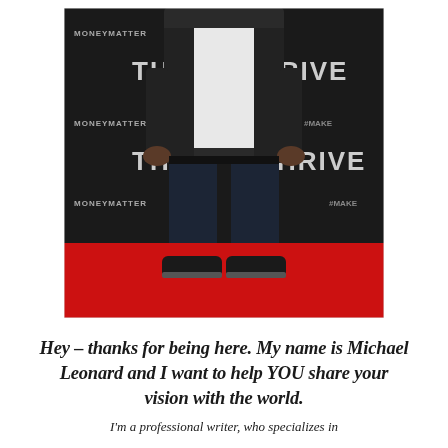[Figure (photo): Photo of a person standing on a red carpet in front of a dark backdrop with repeated THRIVE and #MAKEMONEYMATTER logos. The person is wearing dark jeans, a light shirt, and dark jacket with dark sneakers. Only the body from roughly chest-down is visible.]
Hey – thanks for being here. My name is Michael Leonard and I want to help YOU share your vision with the world.
I'm a professional writer, who specializes in...